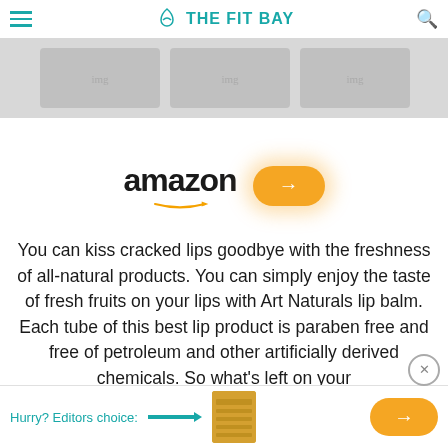THE FIT BAY
[Figure (photo): Faded hero banner image at top of page]
[Figure (logo): Amazon logo with orange arrow and orange button with right arrow]
You can kiss cracked lips goodbye with the freshness of all-natural products. You can simply enjoy the taste of fresh fruits on your lips with Art Naturals lip balm. Each tube of this best lip product is paraben free and free of petroleum and other artificially derived chemicals. So what's left on your
Hurry? Editors choice: